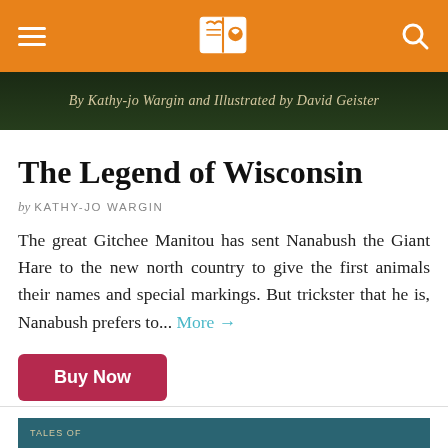[Figure (screenshot): Orange navigation bar with hamburger menu, book/heart logo, and search icon]
[Figure (photo): Dark green book cover strip reading 'By Kathy-jo Wargin and Illustrated by David Geister']
The Legend of Wisconsin
by KATHY-JO WARGIN
The great Gitchee Manitou has sent Nanabush the Giant Hare to the new north country to give the first animals their names and special markings. But trickster that he is, Nanabush prefers to... More →
Buy Now
[Figure (screenshot): Partial teal book cover strip at the bottom of the page with text 'TALES of']